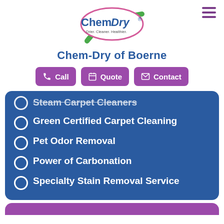[Figure (logo): Chem-Dry logo with green swoosh and oval pink border, tagline Drier. Cleaner. Healthier.]
Chem-Dry of Boerne
Call
Quote
Contact
Steam Carpet Cleaners
Green Certified Carpet Cleaning
Pet Odor Removal
Power of Carbonation
Specialty Stain Removal Service